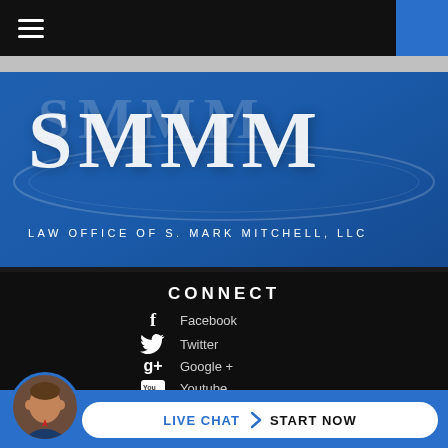Navigation bar with hamburger menu and blue box
[Figure (logo): SMMM Law Office of S. Mark Mitchell, LLC logo on blue background with decorative arc]
CONNECT
Facebook
Twitter
Google +
Youtube
LIVE CHAT  START NOW